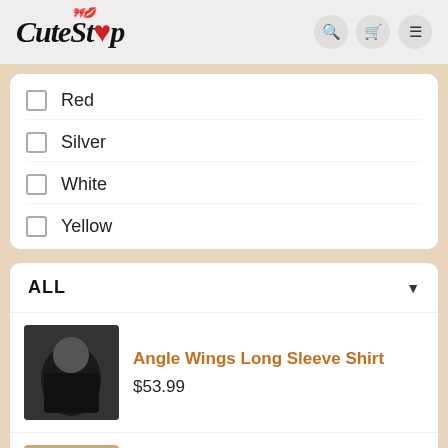CuteStop
Red
Silver
White
Yellow
ALL
Angle Wings Long Sleeve Shirt
$53.99
Halloween Bride Lace Costume
$54.99